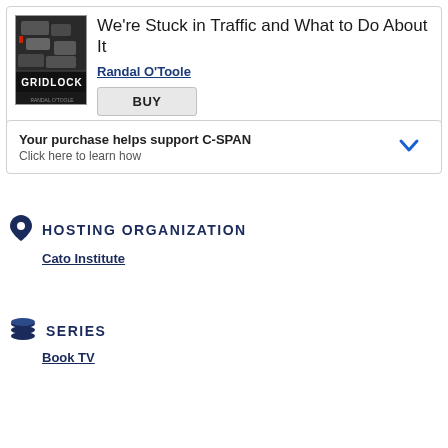[Figure (photo): Book cover for 'Gridlock: Why We're Stuck in Traffic and What to Do About It' by Randal O'Toole, showing aerial view of cars in traffic with 'GRIDLOCK' text overlay]
We're Stuck in Traffic and What to Do About It
Randal O'Toole
BUY
Your purchase helps support C-SPAN
Click here to learn how
HOSTING ORGANIZATION
Cato Institute
SERIES
Book TV